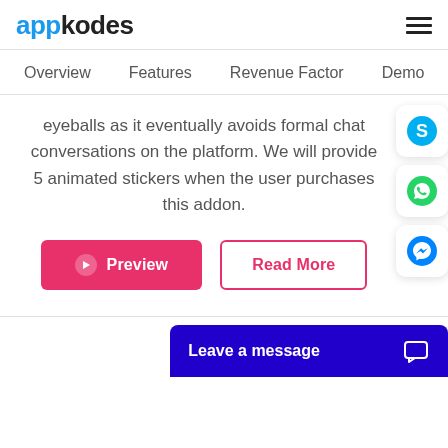appkodes
Overview   Features   Revenue Factor   Demo
eyeballs as it eventually avoids formal chat conversations on the platform. We will provide 5 animated stickers when the user purchases this addon.
[Figure (screenshot): Preview button (pink/red filled) and Read More button (pink/red outlined)]
[Figure (screenshot): Social media sidebar icons: Skype (cyan), WhatsApp (green), Messenger (blue)]
[Figure (screenshot): Leave a message chat bar in dark blue/indigo at the bottom]